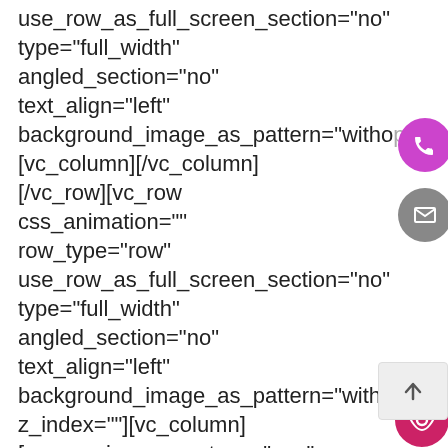use_row_as_full_screen_section="no"
type="full_width"
angled_section="no"
text_align="left"
background_image_as_pattern="witho pa
[vc_column][/vc_column]
[/vc_row][vc_row
css_animation=""
row_type="row"
use_row_as_full_screen_section="no"
type="full_width"
angled_section="no"
text_align="left"
background_image_as_pattern="without_pa
z_index=""][vc_column]
[vc_row_inner row_type="row"
type="full_width"
[Figure (other): Three floating action buttons on the right side: a magenta/purple phone button, a grey email/envelope button, and a pink/magenta leaf/eye button]
[Figure (other): A back-to-top button (grey box with upward arrow) in the lower right]